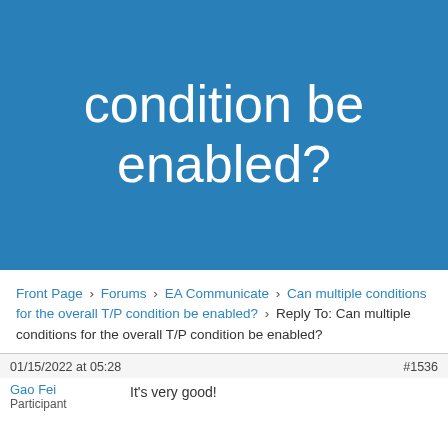condition be enabled?
Front Page › Forums › EA Communicate › Can multiple conditions for the overall T/P condition be enabled? › Reply To: Can multiple conditions for the overall T/P condition be enabled?
01/15/2022 at 05:28   #1536
Gao Fei
Participant
It's very good!